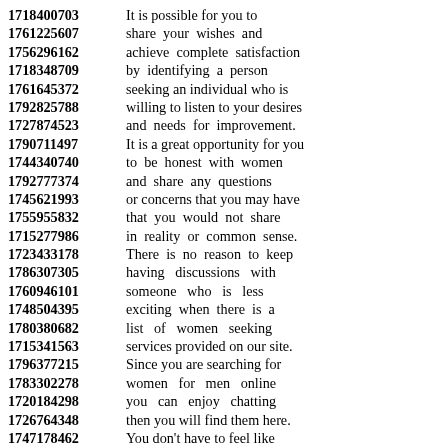1718400703 It is possible for you to
1761225607 share your wishes and
1756296162 achieve complete satisfaction
1718348709 by identifying a person
1761645372 seeking an individual who is
1792825788 willing to listen to your desires
1727874523 and needs for improvement.
1790711497 It is a great opportunity for you
1744340740 to be honest with women
1792777374 and share any questions
1745621993 or concerns that you may have
1755955832 that you would not share
1715277986 in reality or common sense.
1723433178 There is no reason to keep
1786307305 having discussions with
1760946101 someone who is less
1748504395 exciting when there is a
1780380682 list of women seeking
1715341563 services provided on our site.
1796377215 Since you are searching for
1783302278 women for men online
1720184298 you can enjoy chatting
1726764348 then you will find them here.
1747178462 You don't have to feel like
1745359729 you are cheating, and